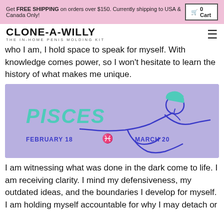Get FREE SHIPPING on orders over $150. Currently shipping to USA & Canada Only! | 0 Cart
CLONE-A-WILLY — THE IN-HOME PENIS MOLDING KIT
who I am, I hold space to speak for myself. With knowledge comes power, so I won't hesitate to learn the history of what makes me unique.
[Figure (illustration): Pisces zodiac sign illustration on purple/lavender background. Text reads PISCES in teal letters, FEBRUARY 18 on left, MARCH 20 on right with Pisces fish symbol in center. Blue line drawing of a reclining woman on the right side.]
I am witnessing what was done in the dark come to life. I am receiving clarity. I mind my defensiveness, my outdated ideas, and the boundaries I develop for myself. I am holding myself accountable for why I may detach or